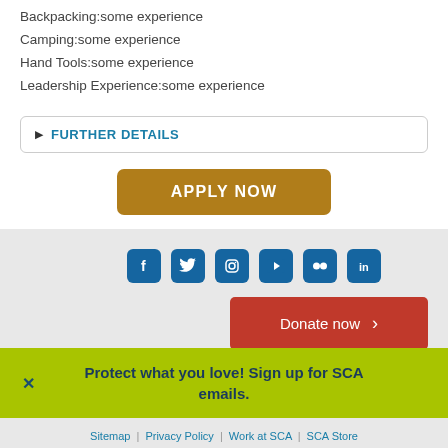Backpacking:some experience
Camping:some experience
Hand Tools:some experience
Leadership Experience:some experience
▶ FURTHER DETAILS
APPLY NOW
[Figure (other): Social media icons: Facebook, Twitter, Instagram, YouTube, Flickr, LinkedIn]
Donate now ›
Protect what you love! Sign up for SCA emails.
Sitemap | Privacy Policy | Work at SCA | SCA Store